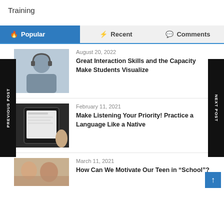Training
Popular | Recent | Comments
August 20, 2022
Great Interaction Skills and the Capacity Make Students Visualize
February 11, 2021
Make Listening Your Priority! Practice a Language Like a Native
March 11, 2021
How Can We Motivate Our Teen in “School”?